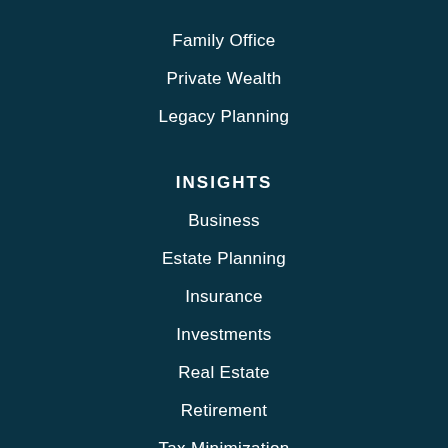Family Office
Private Wealth
Legacy Planning
INSIGHTS
Business
Estate Planning
Insurance
Investments
Real Estate
Retirement
Tax Minimization